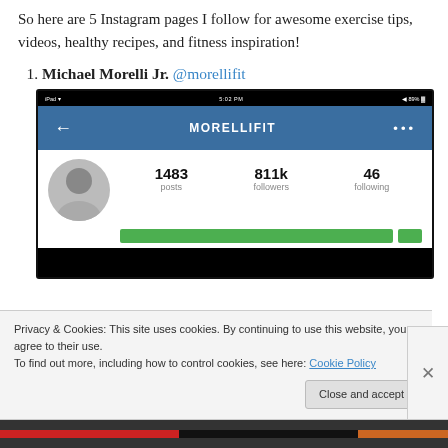So here are 5 Instagram pages I follow for awesome exercise tips, videos, healthy recipes, and fitness inspiration!
1. Michael Morelli Jr. @morellifit
[Figure (screenshot): Screenshot of the Instagram profile page for MORELLIFIT on an iPad, showing 1483 posts, 811k followers, 46 following, with a green follow button.]
Privacy & Cookies: This site uses cookies. By continuing to use this website, you agree to their use.
To find out more, including how to control cookies, see here: Cookie Policy
Close and accept